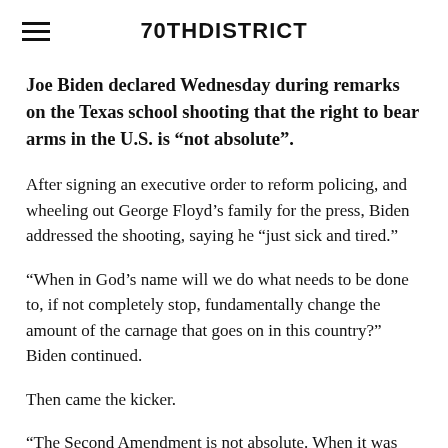70THDISTRICT
Joe Biden declared Wednesday during remarks on the Texas school shooting that the right to bear arms in the U.S. is “not absolute”.
After signing an executive order to reform policing, and wheeling out George Floyd’s family for the press, Biden addressed the shooting, saying he “just sick and tired.”
“When in God’s name will we do what needs to be done to, if not completely stop, fundamentally change the amount of the carnage that goes on in this country?” Biden continued.
Then came the kicker.
“The Second Amendment is not absolute. When it was